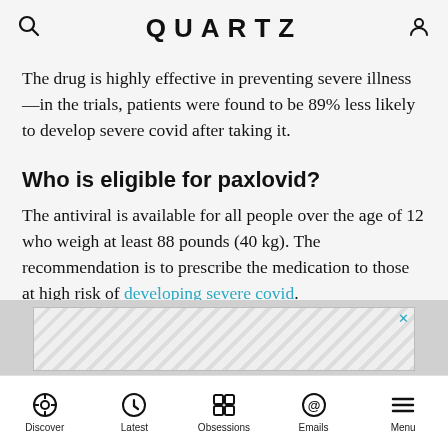QUARTZ
The drug is highly effective in preventing severe illness—in the trials, patients were found to be 89% less likely to develop severe covid after taking it.
Who is eligible for paxlovid?
The antiviral is available for all people over the age of 12 who weigh at least 88 pounds (40 kg). The recommendation is to prescribe the medication to those at high risk of developing severe covid.
ADVERTISEMENT
Discover | Latest | Obsessions | Emails | Menu